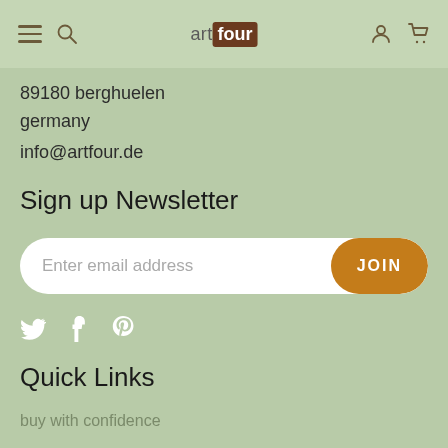artfour — navigation header with hamburger menu, search, logo, user and cart icons
89180 berghuelen
germany
info@artfour.de
Sign up Newsletter
Enter email address [JOIN button]
[Figure (other): Social media icons: Twitter (bird), Facebook (f), Pinterest (p)]
Quick Links
buy with confidence